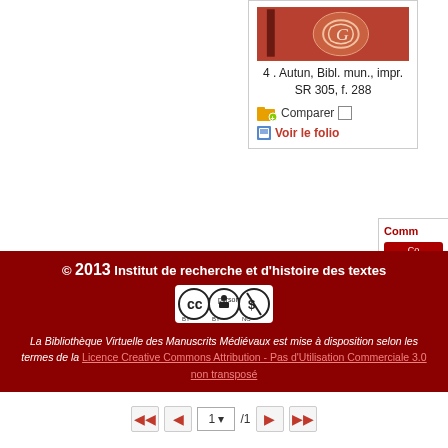[Figure (screenshot): Thumbnail of manuscript page from Autun, Bibl. mun., impr. SR 305, f. 288 — reddish-brown illuminated initial on parchment]
4 . Autun, Bibl. mun., impr. SR 305, f. 288
Comparer □
Voir le folio
[Figure (screenshot): Partially visible right-side panel with red header 'Comm...' and two red buttons]
© 2013 Institut de recherche et d'histoire des textes
La Bibliothèque Virtuelle des Manuscrits Médiévaux est mise à disposition selon les termes de la Licence Creative Commons Attribution - Pas d'Utilisation Commerciale 3.0 non transposé
1 / 1